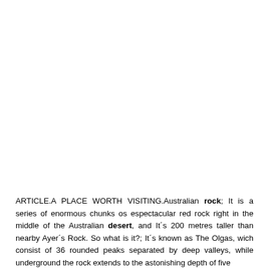ARTICLE.A PLACE WORTH VISITING.Australian rock; It is a series of enormous chunks os espectacular red rock right in the middle of the Australian desert, and It´s 200 metres taller than nearby Ayer´s Rock. So what is it?; It´s known as The Olgas, wich consist of 36 rounded peaks separated by deep valleys, while underground the rock extends to the astonishing depth of five